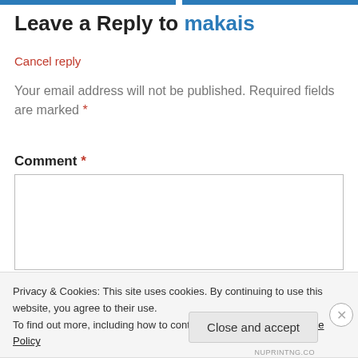Leave a Reply to makais
Cancel reply
Your email address will not be published. Required fields are marked *
Comment *
Privacy & Cookies: This site uses cookies. By continuing to use this website, you agree to their use.
To find out more, including how to control cookies, see here: Cookie Policy
Close and accept
NUPRINTNG.CO